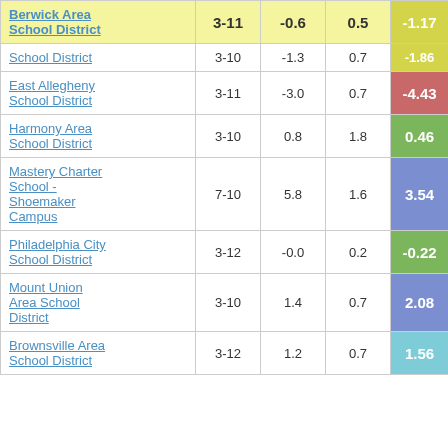| School/District | Grades | Col3 | Col4 | Score |
| --- | --- | --- | --- | --- |
| Berwick Area School District | 3-11 | -0.6 | 0.5 | -1.17 |
| School District | 3-10 | -1.3 | 0.7 | -1.86 |
| East Allegheny School District | 3-11 | -3.0 | 0.7 | -4.43 |
| Harmony Area School District | 3-10 | 0.8 | 1.8 | 0.46 |
| Mastery Charter School - Shoemaker Campus | 7-10 | 5.8 | 1.6 | 3.54 |
| Philadelphia City School District | 3-12 | -0.0 | 0.2 | -0.22 |
| Mount Union Area School District | 3-10 | 1.4 | 0.7 | 2.08 |
| Brownsville Area School District | 3-12 | 1.2 | 0.7 | 1.56 |